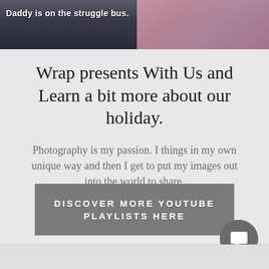[Figure (screenshot): Video thumbnail showing a person in a pink sweater with white text overlay reading 'Daddy is on the struggle bus.']
Wrap presents With Us and Learn a bit more about our holiday.
Photography is my passion. I things in my own unique way and then I get to put my images out into the world to share.
www.dailyamazing.com
DISCOVER MORE YOUTUBE PLAYLISTS HERE